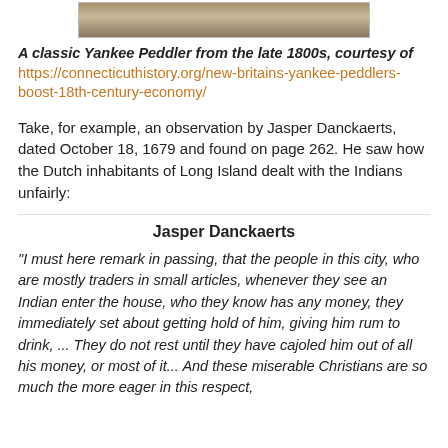[Figure (photo): A classic Yankee Peddler photograph from the late 1800s, partial view of old photograph shown at top of page]
A classic Yankee Peddler from the late 1800s, courtesy of https://connecticuthistory.org/new-britains-yankee-peddlers-boost-18th-century-economy/
Take, for example, an observation by Jasper Danckaerts, dated October 18, 1679 and found on page 262. He saw how the Dutch inhabitants of Long Island dealt with the Indians unfairly:
Jasper Danckaerts
"I must here remark in passing, that the people in this city, who are mostly traders in small articles, whenever they see an Indian enter the house, who they know has any money, they immediately set about getting hold of him, giving him rum to drink, ... They do not rest until they have cajoled him out of all his money, or most of it... And these miserable Christians are so much the more eager in this respect,